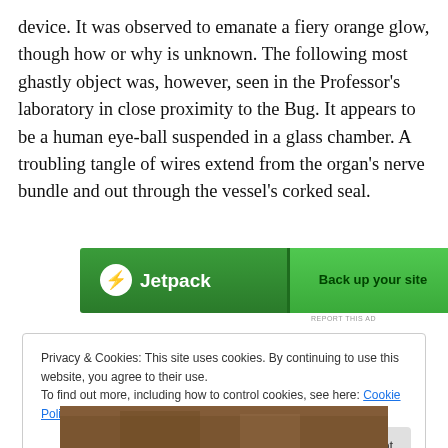device. It was observed to emanate a fiery orange glow, though how or why is unknown. The following most ghastly object was, however, seen in the Professor's laboratory in close proximity to the Bug. It appears to be a human eye-ball suspended in a glass chamber. A troubling tangle of wires extend from the organ's nerve bundle and out through the vessel's corked seal.
[Figure (screenshot): Jetpack advertisement banner with green background showing Jetpack logo and 'Back up your site' call to action button]
REPORT THIS AD
Privacy & Cookies: This site uses cookies. By continuing to use this website, you agree to their use.
To find out more, including how to control cookies, see here: Cookie Policy

Close and accept